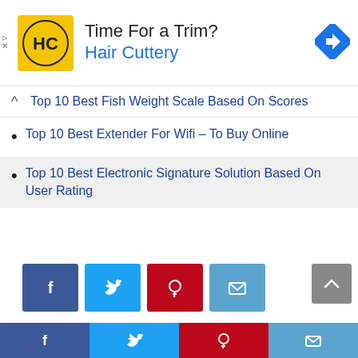[Figure (infographic): Hair Cuttery advertisement banner with HC logo, headline 'Time For a Trim?' and subtext 'Hair Cuttery', plus a navigation/directions icon on the right]
Top 10 Best Fish Weight Scale Based On Scores
Top 10 Best Extender For Wifi – To Buy Online
Top 10 Best Electronic Signature Solution Based On User Rating
[Figure (infographic): Social share buttons: Facebook (dark blue), Twitter (light blue), Pinterest (red), Email (teal)]
TAGS: Grocery  Health and Beauty  Misc.
[Figure (infographic): Bottom social bar with Facebook, Twitter, Pinterest, and Email icons]